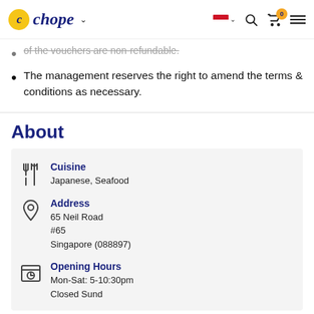Chope - header navigation
of the vouchers are non-refundable.
The management reserves the right to amend the terms & conditions as necessary.
About
Cuisine
Japanese, Seafood
Address
65 Neil Road
#65
Singapore (088897)
Opening Hours
Mon-Sat: 5-10:30pm
Closed Sunday